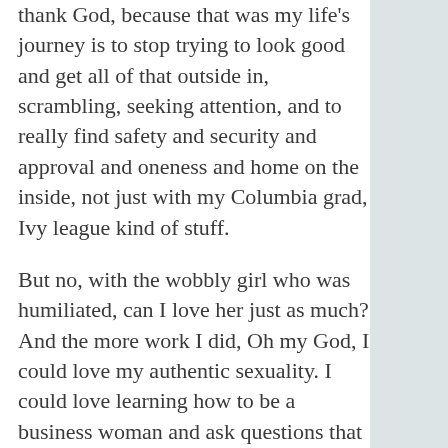thank God, because that was my life's journey is to stop trying to look good and get all of that outside in, scrambling, seeking attention, and to really find safety and security and approval and oneness and home on the inside, not just with my Columbia grad, Ivy league kind of stuff.
But no, with the wobbly girl who was humiliated, can I love her just as much? And the more work I did, Oh my God, I could love my authentic sexuality. I could love learning how to be a business woman and ask questions that I didn't know what I was doing. And then I could be the safe space for others to tell me things they've never even sometimes